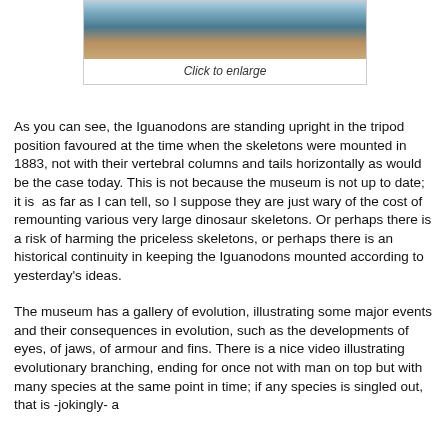[Figure (photo): Photo of Iguanodon skeletons mounted upright in tripod position inside a museum display with blue-lit tanks and warm floor]
Click to enlarge
As you can see, the Iguanodons are standing upright in the tripod position favoured at the time when the skeletons were mounted in 1883, not with their vertebral columns and tails horizontally as would be the case today. This is not because the museum is not up to date; it is  as far as I can tell, so I suppose they are just wary of the cost of remounting various very large dinosaur skeletons. Or perhaps there is a risk of harming the priceless skeletons, or perhaps there is an historical continuity in keeping the Iguanodons mounted according to yesterday's ideas.
The museum has a gallery of evolution, illustrating some major events and their consequences in evolution, such as the developments of eyes, of jaws, of armour and fins. There is a nice video illustrating evolutionary branching, ending for once not with man on top but with many species at the same point in time; if any species is singled out, that is -jokingly- a